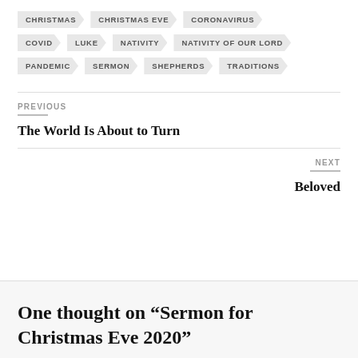CHRISTMAS
CHRISTMAS EVE
CORONAVIRUS
COVID
LUKE
NATIVITY
NATIVITY OF OUR LORD
PANDEMIC
SERMON
SHEPHERDS
TRADITIONS
PREVIOUS
The World Is About to Turn
NEXT
Beloved
One thought on “Sermon for Christmas Eve 2020”